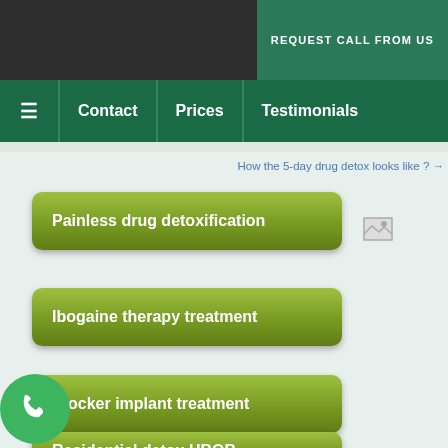REQUEST CALL FROM US
≡  Contact  Prices  Testimonials
How the 5-day drug detox looks like ? →
Painless drug detoxification
Ibogaine therapy treatment
Blocker implant treatment
Residential detox HBOB